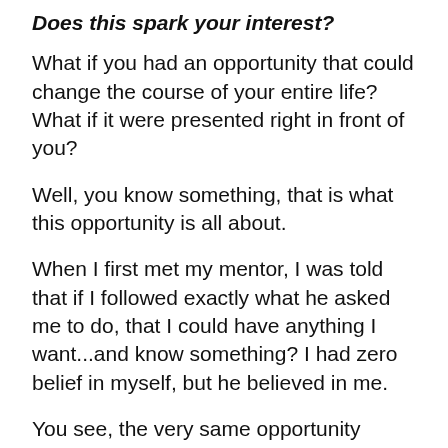Does this spark your interest?
What if you had an opportunity that could change the course of your entire life? What if it were presented right in front of you?
Well, you know something, that is what this opportunity is all about.
When I first met my mentor, I was told that if I followed exactly what he asked me to do, that I could have anything I want...and know something? I had zero belief in myself, but he believed in me.
You see, the very same opportunity presents itself to you right in this moment... We will show you step-by-step on how to build a business teaching other this material; and making a dramatic